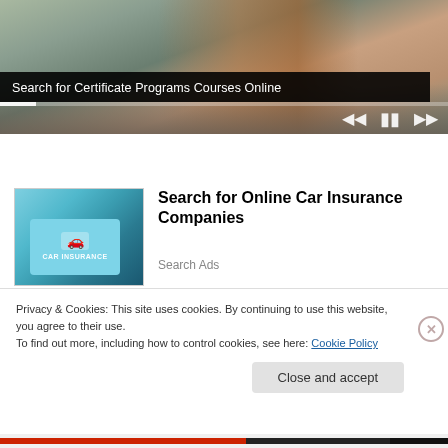[Figure (screenshot): Video player showing a person writing at a desk with a laptop. Shows media controls (skip back, pause, skip forward) and a progress bar at bottom.]
Search for Certificate Programs Courses Online
[Figure (photo): Thumbnail image showing a tablet or card with 'CAR INSURANCE' text and a car icon on a teal background]
Search for Online Car Insurance Companies
Search Ads
Privacy & Cookies: This site uses cookies. By continuing to use this website, you agree to their use.
To find out more, including how to control cookies, see here: Cookie Policy
Close and accept